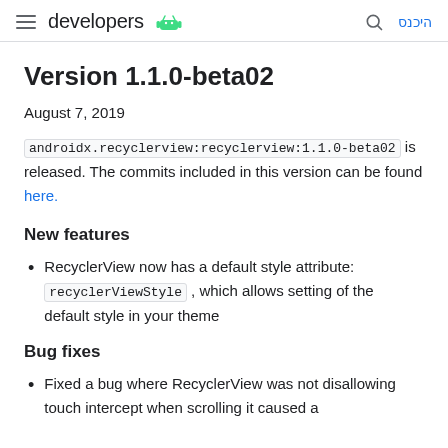developers
Version 1.1.0-beta02
August 7, 2019
androidx.recyclerview:recyclerview:1.1.0-beta02 is released. The commits included in this version can be found here.
New features
RecyclerView now has a default style attribute: recyclerViewStyle , which allows setting of the default style in your theme
Bug fixes
Fixed a bug where RecyclerView was not disallowing touch intercept when scrolling it caused a